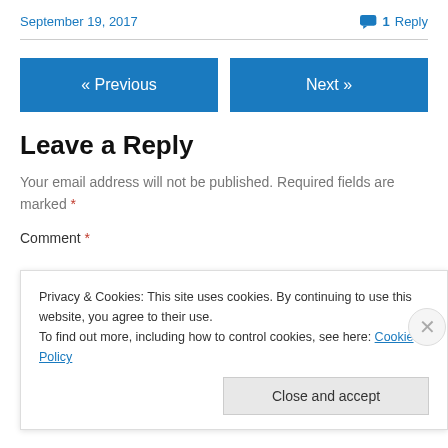September 19, 2017
1 Reply
Leave a Reply
Your email address will not be published. Required fields are marked *
Comment *
Privacy & Cookies: This site uses cookies. By continuing to use this website, you agree to their use.
To find out more, including how to control cookies, see here: Cookie Policy
Close and accept